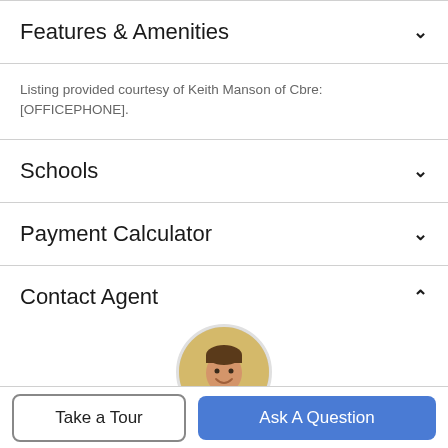Features & Amenities
Listing provided courtesy of Keith Manson of Cbre: [OFFICEPHONE].
Schools
Payment Calculator
Contact Agent
[Figure (photo): Circular headshot of a smiling man in a dark suit and light pink tie, with a blurred outdoor background.]
Take a Tour
Ask A Question